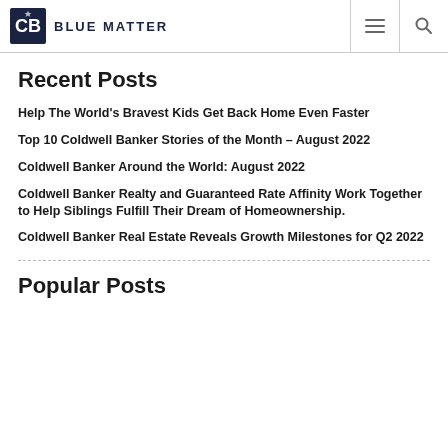Blue Matter
Recent Posts
Help The World's Bravest Kids Get Back Home Even Faster
Top 10 Coldwell Banker Stories of the Month – August 2022
Coldwell Banker Around the World: August 2022
Coldwell Banker Realty and Guaranteed Rate Affinity Work Together to Help Siblings Fulfill Their Dream of Homeownership.
Coldwell Banker Real Estate Reveals Growth Milestones for Q2 2022
Popular Posts